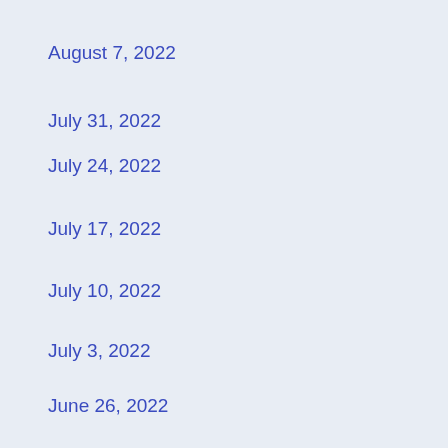August 7, 2022
July 31, 2022
July 24, 2022
July 17, 2022
July 10, 2022
July 3, 2022
June 26, 2022
June 19, 2022